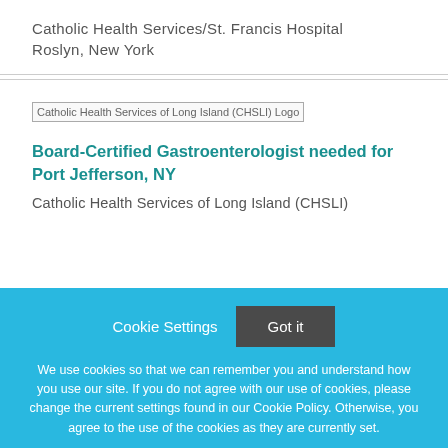Catholic Health Services/St. Francis Hospital
Roslyn, New York
[Figure (logo): Catholic Health Services of Long Island (CHSLI) Logo]
Board-Certified Gastroenterologist needed for Port Jefferson, NY
Catholic Health Services of Long Island (CHSLI)
Cookie Settings
Got it
We use cookies so that we can remember you and understand how you use our site. If you do not agree with our use of cookies, please change the current settings found in our Cookie Policy. Otherwise, you agree to the use of the cookies as they are currently set.